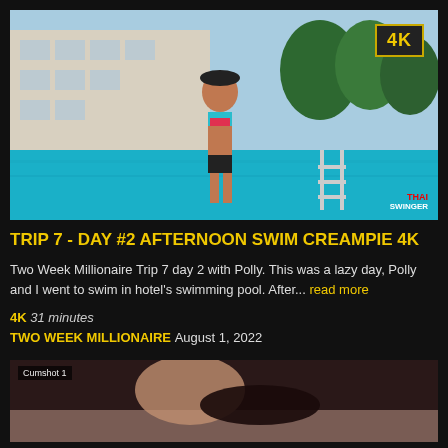[Figure (photo): Woman in bikini standing by a swimming pool with a hotel building and trees in the background. A 4K badge is in the top-right corner and a THAI SWINGER watermark in the bottom-right.]
TRIP 7 - DAY #2 AFTERNOON SWIM CREAMPIE 4K
Two Week Millionaire Trip 7 day 2 with Polly. This was a lazy day, Polly and I went to swim in hotel's swimming pool. After... read more
4K 31 minutes
TWO WEEK MILLIONAIRE August 1, 2022
[Figure (photo): Close-up photo of a person lying on a bed. Label 'Cumshot 1' in the top-left corner.]